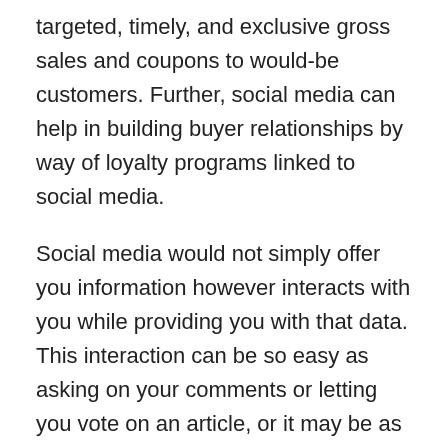targeted, timely, and exclusive gross sales and coupons to would-be customers. Further, social media can help in building buyer relationships by way of loyalty programs linked to social media.
Social media would not simply offer you information however interacts with you while providing you with that data. This interaction can be so easy as asking on your comments or letting you vote on an article, or it may be as complicated as Flixster recommending movies to you based on the scores of other people with comparable interests. The following listing of frequent features is commonly lifeless giveaways of a social media site.
Being in a position to rapidly adapt to new technologies, companies and environments is already considered a highly useful ability by employers, and can facilitate both formal and casual studying. Most companies are text based mostly, which inspires literacy skills, including interpretation, evaluation and contextualisation. In truth, in rich nations,